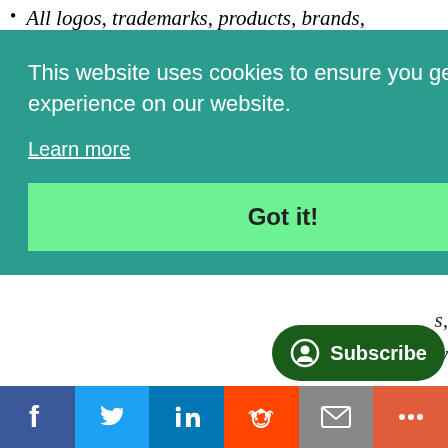All logos, trademarks, products, brands,
[Figure (screenshot): Cookie consent banner overlay with teal background. Text reads: 'This website uses cookies to ensure you get the best experience on our website.' with a 'Learn more' link and a green 'Got it!' button.]
Kindly Geek.
Further information is available in our disclaimer.
[Figure (other): Dark green Subscribe button with user/circle icon, positioned bottom-right.]
[Figure (other): Social sharing bar at bottom with Facebook, Twitter, LinkedIn, Reddit, Email, and More buttons.]